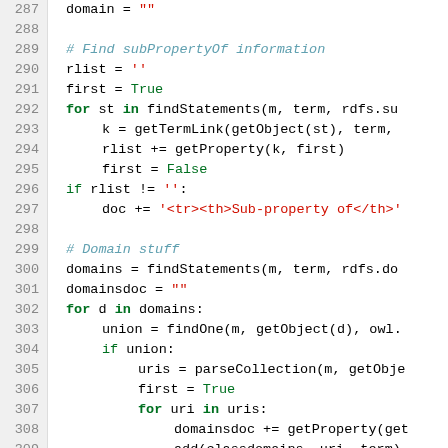[Figure (screenshot): Python source code listing, lines 287-316, showing code for finding subPropertyOf information and domain information using RDF/RDFS operations.]